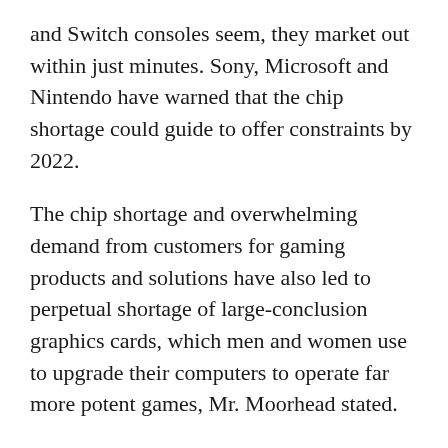and Switch consoles seem, they market out within just minutes. Sony, Microsoft and Nintendo have warned that the chip shortage could guide to offer constraints by 2022.
The chip shortage and overwhelming demand from customers for gaming products and solutions have also led to perpetual shortage of large-conclusion graphics cards, which men and women use to upgrade their computers to operate far more potent games, Mr. Moorhead stated.
The activity program? Think about automation. Tens of millions are next Twitter accounts that scan retail web pages and tweet as quickly as recreation consoles and graphics playing cards are back in stock. You can established up your Twitter applications to deliver a notification to your cell phone as before long as those consoles are establishments, however you must